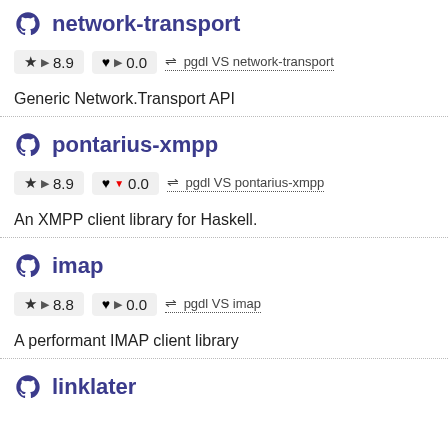network-transport
★ ▶ 8.9   ♥ ▶ 0.0   ⇌ pgdl VS network-transport
Generic Network.Transport API
pontarius-xmpp
★ ▶ 8.9   ♥ ▼ 0.0   ⇌ pgdl VS pontarius-xmpp
An XMPP client library for Haskell.
imap
★ ▶ 8.8   ♥ ▶ 0.0   ⇌ pgdl VS imap
A performant IMAP client library
linklater